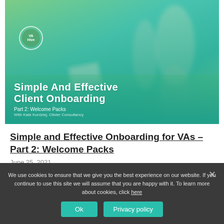[Figure (photo): Hero image for a webinar about Simple and Effective Client Onboarding Part 2: Welcome Packs. Shows a woman in a green jacket holding a book outdoors, with blurred background. Overlay text includes the title, subtitle, and presenter name. Small circular logo top left.]
Simple and Effective Onboarding for VAs – Part 2: Welcome Packs
June 25, 2021
We use cookies to ensure that we give you the best experience on our website. If you continue to use this site we will assume that you are happy with it. To learn more about cookies, click here